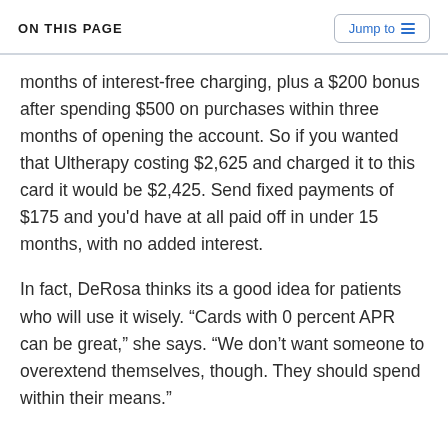ON THIS PAGE
months of interest-free charging, plus a $200 bonus after spending $500 on purchases within three months of opening the account. So if you wanted that Ultherapy costing $2,625 and charged it to this card it would be $2,425. Send fixed payments of $175 and you'd have at all paid off in under 15 months, with no added interest.
In fact, DeRosa thinks its a good idea for patients who will use it wisely. “Cards with 0 percent APR can be great,” she says. “We don’t want someone to overextend themselves, though. They should spend within their means.”